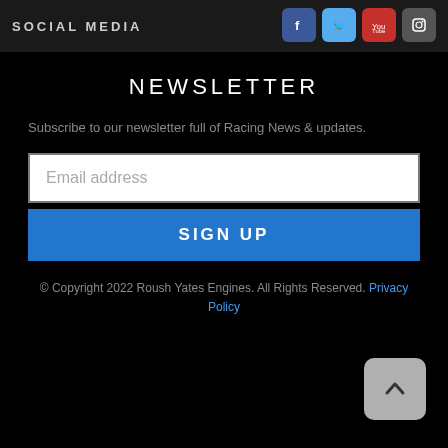SOCIAL MEDIA
NEWSLETTER
Subscribe to our newsletter full of Racing News & updates.
Email address
SIGN UP
© Copyright 2022 Roush Yates Engines. All Rights Reserved. Privacy Policy